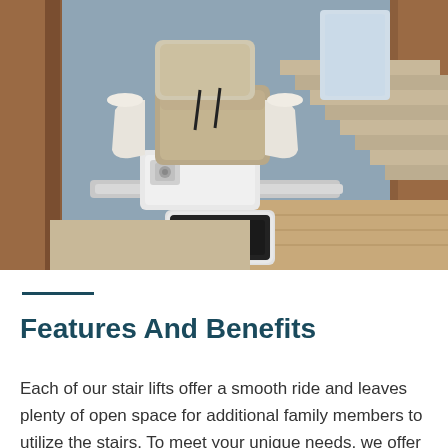[Figure (photo): Overhead/angled view of a white stairlift chair mounted on a staircase rail in a home. The chair has beige/tan cushioning, white armrests, and a black footrest platform. The staircase has wooden railings on both sides with a blue-gray wall in the background and hardwood flooring visible.]
Features And Benefits
Each of our stair lifts offer a smooth ride and leaves plenty of open space for additional family members to utilize the stairs. To meet your unique needs, we offer a variety of customizable options such as power swivel